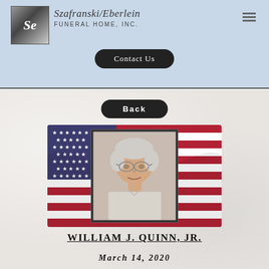Szafranski/Eberlein Funeral Home, Inc.
Contact Us
Back
[Figure (photo): Portrait photo of William J. Quinn Jr. overlaid on an American flag background. The man has white/gray hair and glasses.]
William J. Quinn, Jr.
March 14, 2020